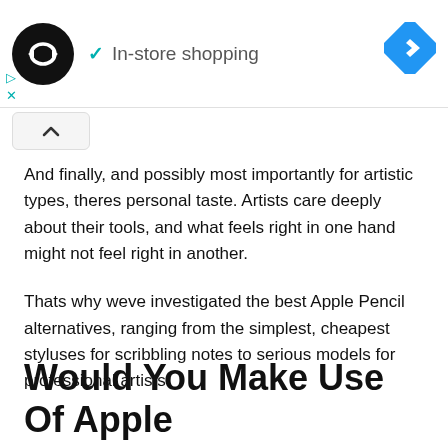[Figure (other): Ad banner with dark circular logo containing infinity/loop arrows icon, 'In-store shopping' text with teal checkmark, blue diamond navigation icon, and small teal play/close controls]
[Figure (other): Collapse/chevron-up button UI element]
And finally, and possibly most importantly for artistic types, theres personal taste. Artists care deeply about their tools, and what feels right in one hand might not feel right in another.
Thats why weve investigated the best Apple Pencil alternatives, ranging from the simplest, cheapest styluses for scribbling notes to serious models for professional artists.
Would You Make Use Of Apple